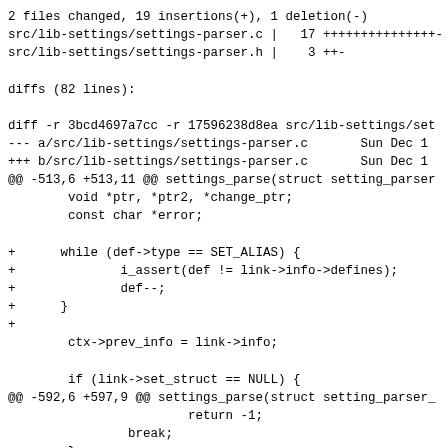2 files changed, 19 insertions(+), 1 deletion(-)
src/lib-settings/settings-parser.c |   17 +++++++++++++++-
src/lib-settings/settings-parser.h |    3 ++-

diffs (82 lines):

diff -r 3bcd4697a7cc -r 17596238d8ea src/lib-settings/set
--- a/src/lib-settings/settings-parser.c       Sun Dec 1
+++ b/src/lib-settings/settings-parser.c       Sun Dec 1
@@ -513,6 +513,11 @@ settings_parse(struct setting_parser
        void *ptr, *ptr2, *change_ptr;
        const char *error;

+      while (def->type == SET_ALIAS) {
+              i_assert(def != link->info->defines);
+              def--;
+      }
+
        ctx->prev_info = link->info;

        if (link->set_struct == NULL) {
@@ -592,6 +597,9 @@ settings_parse(struct setting_parser_
                        return -1;
                break;
        }
+      case SET_ALIAS:
+              i_unreached();
+              break;
        }